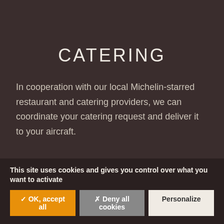CATERING
In cooperation with our local Michelin-starred restaurant and catering providers, we can coordinate your catering request and deliver it to your aircraft.
This site uses cookies and gives you control over what you want to activate
✓ OK, accept all
✗ Deny all cookies
Personalize